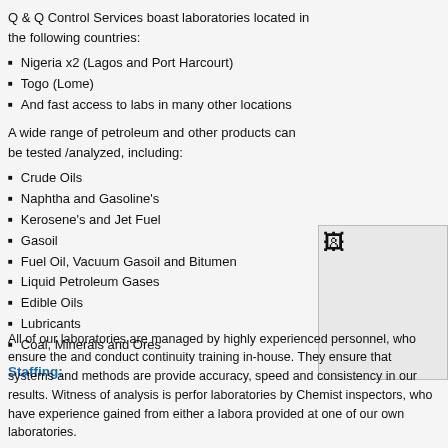Q & Q Control Services boast laboratories located in the following countries:
Nigeria x2 (Lagos and Port Harcourt)
Togo (Lome)
And fast access to labs in many other locations
A wide range of petroleum and other products can be tested /analyzed, including:
Crude Oils
Naphtha and Gasoline's
Kerosene's and Jet Fuel
Gasoil
Fuel Oil, Vacuum Gasoil and Bitumen
Liquid Petroleum Gases
Edible Oils
Lubricants
Coal, Minerals and Ores
[Figure (photo): Broken/missing image placeholder]
Staffing:
All of our laboratories are managed by highly experienced personnel, who ensure the and conduct continuity training in-house. They ensure that systems and methods are provide accuracy, speed and consistency in our results. Witness of analysis is perfor laboratories by Chemist inspectors, who have experience gained from either a labora provided at one of our own laboratories.